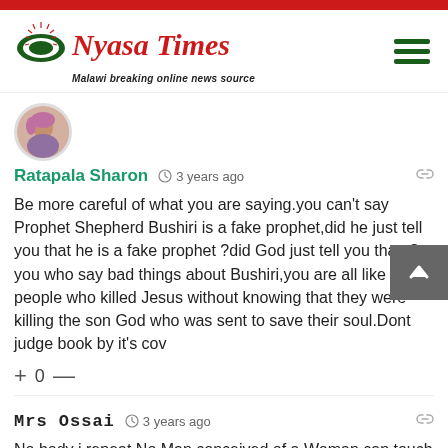[Figure (logo): Nyasa Times newspaper logo with red text and green mountain/arch icon. Tagline: Malawi breaking online news source]
[Figure (photo): Round avatar photo of a woman with pink hair accessories]
Ratapala Sharon  3 years ago
Be more careful of what you are saying.you can't say Prophet Shepherd Bushiri is a fake prophet,did he just tell you that he is a fake prophet ?did God just tell you that..?you who say bad things about Bushiri,you are all like the people who killed Jesus without knowing that they were killing the son God who was sent to save their soul.Dont judge book by it's cov
+ 0 —
Mrs Ossai  3 years ago
No body i repeat No Man conceived of a Woman can touch or defeat Prophet Shepherd Bushiri. He is a Prophet and theres